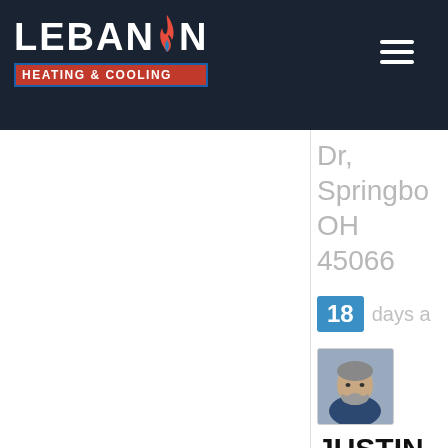Lebanon Heating & Cooling - navigation header
Dr, Springbo OH 45066
18 days a
[Figure (photo): Headshot photo of reviewer]
JUSTIN S.
172441